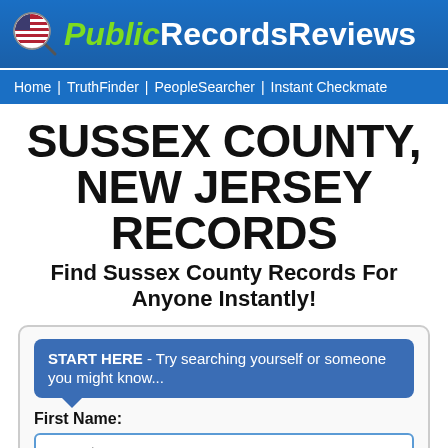PublicRecordsReviews
Home | TruthFinder | PeopleSearcher | Instant Checkmate
SUSSEX COUNTY, NEW JERSEY RECORDS
Find Sussex County Records For Anyone Instantly!
START HERE - Try searching yourself or someone you might know...
First Name:
e.g. John
Last Name: